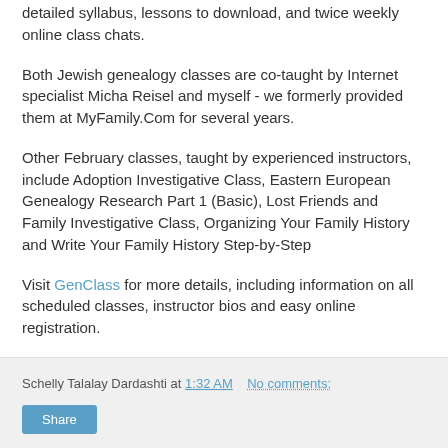detailed syllabus, lessons to download, and twice weekly online class chats.
Both Jewish genealogy classes are co-taught by Internet specialist Micha Reisel and myself - we formerly provided them at MyFamily.Com for several years.
Other February classes, taught by experienced instructors, include Adoption Investigative Class, Eastern European Genealogy Research Part 1 (Basic), Lost Friends and Family Investigative Class, Organizing Your Family History and Write Your Family History Step-by-Step
Visit GenClass for more details, including information on all scheduled classes, instructor bios and easy online registration.
Schelly Talalay Dardashti at 1:32 AM   No comments: